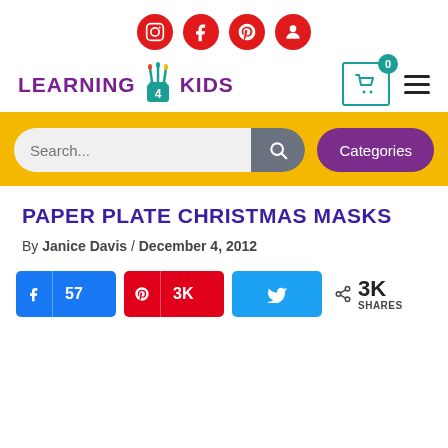[Figure (screenshot): Social media icons row: Instagram, Facebook, Pinterest, and user profile — red circles with white icons]
[Figure (logo): Learning 4 Kids logo with paintbrush icon and teal cup, purple text]
[Figure (screenshot): Yellow search bar section with search input and purple Categories button]
PAPER PLATE CHRISTMAS MASKS
By Janice Davis / December 4, 2012
[Figure (screenshot): Social share buttons: Facebook 57, Pinterest 3K, Twitter, and total 3K SHARES]